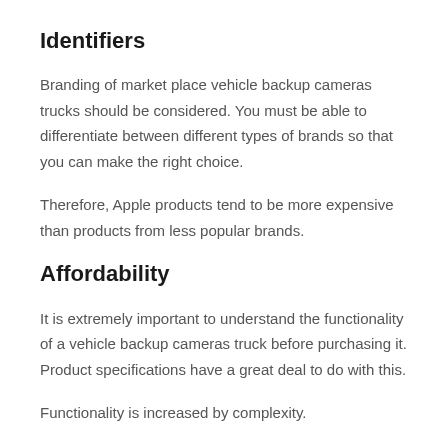Identifiers
Branding of market place vehicle backup cameras trucks should be considered. You must be able to differentiate between different types of brands so that you can make the right choice.
Therefore, Apple products tend to be more expensive than products from less popular brands.
Affordability
It is extremely important to understand the functionality of a vehicle backup cameras truck before purchasing it. Product specifications have a great deal to do with this.
Functionality is increased by complexity.
Reviews And Features Section